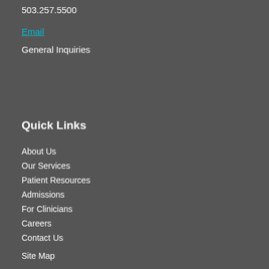503.257.5500
Email
General Inquiries
Quick Links
About Us
Our Services
Patient Resources
Admissions
For Clinicians
Careers
Contact Us
Site Map